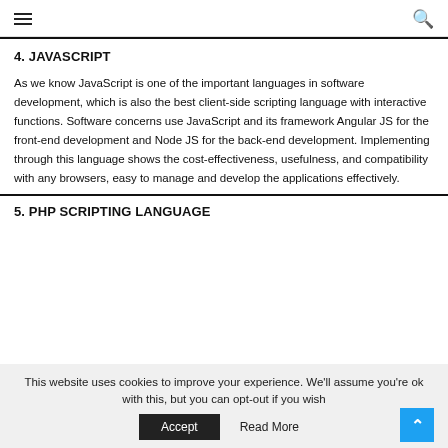☰ [menu icon] ... [search icon]
4. JAVASCRIPT
As we know JavaScript is one of the important languages in software development, which is also the best client-side scripting language with interactive functions. Software concerns use JavaScript and its framework Angular JS for the front-end development and Node JS for the back-end development. Implementing through this language shows the cost-effectiveness, usefulness, and compatibility with any browsers, easy to manage and develop the applications effectively.
5. PHP SCRIPTING LANGUAGE
This website uses cookies to improve your experience. We'll assume you're ok with this, but you can opt-out if you wish
Accept   Read More